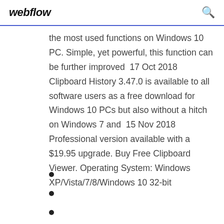webflow
the most used functions on Windows 10 PC. Simple, yet powerful, this function can be further improved  17 Oct 2018 Clipboard History 3.47.0 is available to all software users as a free download for Windows 10 PCs but also without a hitch on Windows 7 and  15 Nov 2018 Professional version available with a $19.95 upgrade. Buy Free Clipboard Viewer. Operating System: Windows XP/Vista/7/8/Windows 10 32-bit